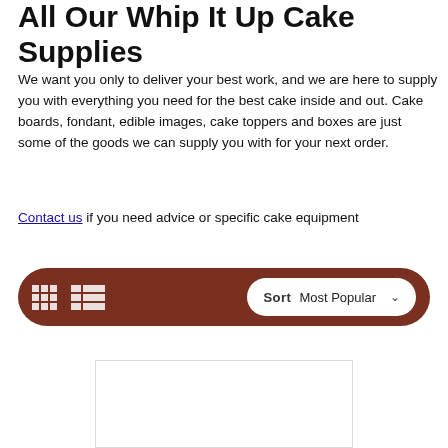All Our Whip It Up Cake Supplies
We want you only to deliver your best work, and we are here to supply you with everything you need for the best cake inside and out. Cake boards, fondant, edible images, cake toppers and boxes are just some of the goods we can supply you with for your next order.
Contact us if you need advice or specific cake equipment
[Figure (screenshot): Toolbar with grid/list view toggle icons on brown pill-shaped background and a Sort dropdown showing 'Most Popular']
[Figure (other): Empty white product card placeholder with light border]